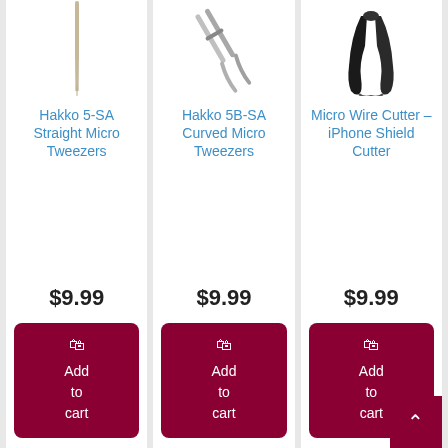[Figure (photo): Product image of Hakko 5-SA Straight Micro Tweezers - thin metal tweezers shown from above]
Hakko 5-SA Straight Micro Tweezers
$9.99
Add to cart
[Figure (photo): Product image of Hakko 5B-SA Curved Micro Tweezers - slightly curved metal tweezers shown from above]
Hakko 5B-SA Curved Micro Tweezers
$9.99
Add to cart
[Figure (photo): Product image of Micro Wire Cutter - iPhone Shield Cutter - black handled wire cutter tool]
Micro Wire Cutter – iPhone Shield Cutter
$9.99
Add to cart